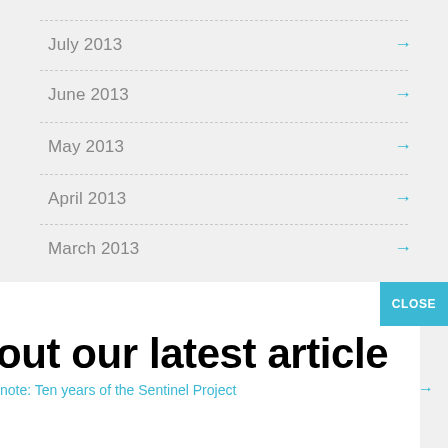July 2013
June 2013
May 2013
April 2013
March 2013
out our latest article
note: Ten years of the Sentinel Project
December 2012
November 2012